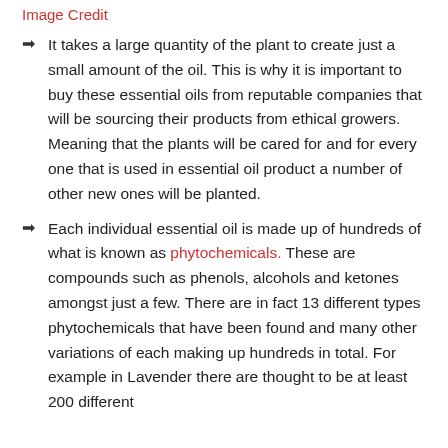Image Credit
It takes a large quantity of the plant to create just a small amount of the oil. This is why it is important to buy these essential oils from reputable companies that will be sourcing their products from ethical growers. Meaning that the plants will be cared for and for every one that is used in essential oil product a number of other new ones will be planted.
Each individual essential oil is made up of hundreds of what is known as phytochemicals. These are compounds such as phenols, alcohols and ketones amongst just a few. There are in fact 13 different types phytochemicals that have been found and many other variations of each making up hundreds in total. For example in Lavender there are thought to be at least 200 different